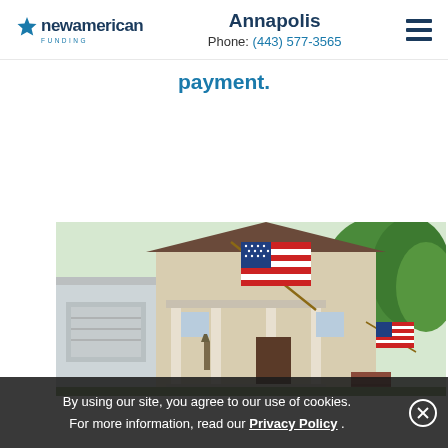New American Funding | Annapolis | Phone: (443) 577-3565
payment.
[Figure (photo): Photo of suburban American houses with US flags displayed on the front porch, green trees in the background]
By using our site, you agree to our use of cookies. For more information, read our Privacy Policy .